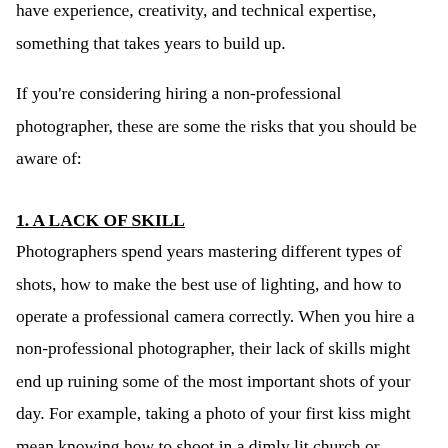enough to take amazing photos. Wedding photographers have experience, creativity, and technical expertise, something that takes years to build up.
If you're considering hiring a non-professional photographer, these are some the risks that you should be aware of:
1. A LACK OF SKILL
Photographers spend years mastering different types of shots, how to make the best use of lighting, and how to operate a professional camera correctly. When you hire a non-professional photographer, their lack of skills might end up ruining some of the most important shots of your day. For example, taking a photo of your first kiss might mean knowing how to shoot in a dimly lit church or outside in direct sunlight. Will they know how to capture various shots in any